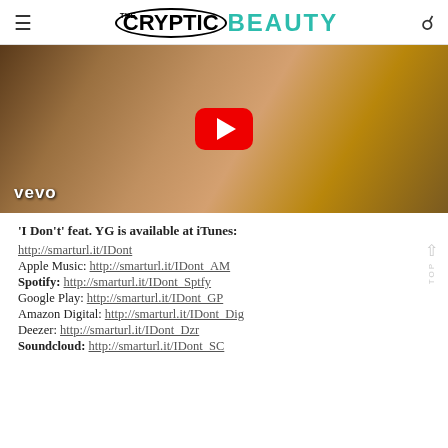THE CRYPTIC BEAUTY
[Figure (screenshot): YouTube/Vevo video thumbnail showing a woman in white dress with YouTube play button overlay and 'vevo' watermark in bottom left]
'I Don't' feat. YG is available at iTunes:
http://smarturl.it/IDont
Apple Music: http://smarturl.it/IDont_AM
Spotify: http://smarturl.it/IDont_Sptfy
Google Play: http://smarturl.it/IDont_GP
Amazon Digital: http://smarturl.it/IDont_Dig
Deezer: http://smarturl.it/IDont_Dzr
Soundcloud: http://smarturl.it/IDont_SC